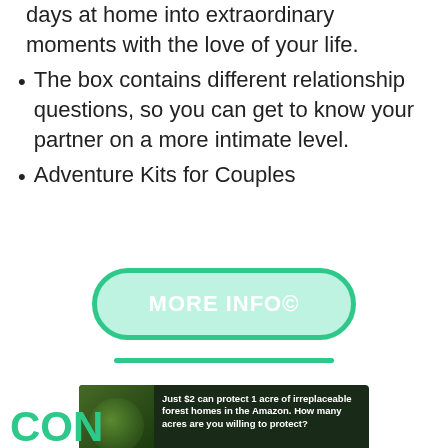days at home into extraordinary moments with the love of your life.
The box contains different relationship questions, so you can get to know your partner on a more intimate level.
Adventure Kits for Couples
[Figure (other): A rounded pill-shaped green button with white uppercase text reading MORE INFO]
[Figure (other): A horizontal teal/green divider line]
[Figure (other): An advertisement banner with dark forest background image and text: Just $2 can protect 1 acre of irreplaceable forest homes in the Amazon. How many acres are you willing to protect? With a green PROTECT FORESTS NOW button]
CON